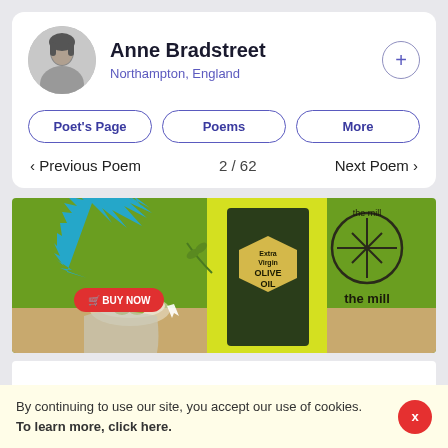Anne Bradstreet
Northampton, England
Poet's Page
Poems
More
< Previous Poem   2 / 62   Next Poem >
[Figure (photo): Advertisement banner for 'The Mill' Extra Virgin Olive Oil showing a green tin of olive oil, olives in a bowl, olive branches, on a green/wood background with a BUY NOW button and the mill logo.]
By continuing to use our site, you accept our use of cookies. To learn more, click here.